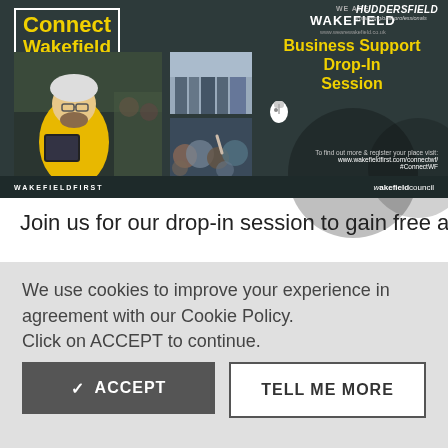[Figure (infographic): Connect Wakefield Business Support Drop-In Session promotional banner. Dark teal background with yellow text 'Connect Wakefield', photos of a construction worker using a tablet, a cityscape, and a crowd. We Are Wakefield and Huddersfield University logos. Text: 'Business Support Drop-In Session'. Register URL: www.wakefieldfirst.com/connectwf/ #ConnectWF. Wakefield First and Wakefield Council logos in footer.]
Join us for our drop-in session to gain free and
We use cookies to improve your experience in agreement with our Cookie Policy. Click on ACCEPT to continue.